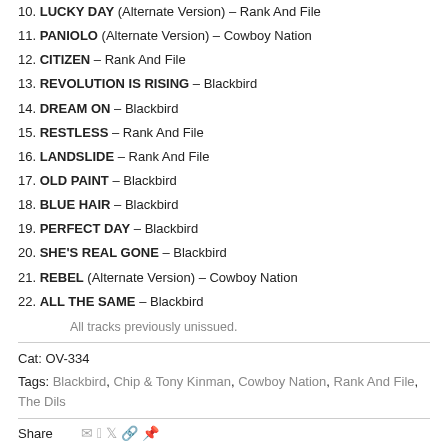10. LUCKY DAY (Alternate Version) – Rank And File
11. PANIOLO (Alternate Version) – Cowboy Nation
12. CITIZEN – Rank And File
13. REVOLUTION IS RISING – Blackbird
14. DREAM ON – Blackbird
15. RESTLESS – Rank And File
16. LANDSLIDE – Rank And File
17. OLD PAINT – Blackbird
18. BLUE HAIR – Blackbird
19. PERFECT DAY – Blackbird
20. SHE'S REAL GONE – Blackbird
21. REBEL (Alternate Version) – Cowboy Nation
22. ALL THE SAME – Blackbird
All tracks previously unissued.
Cat: OV-334
Tags: Blackbird, Chip & Tony Kinman, Cowboy Nation, Rank And File, The Dils
Share